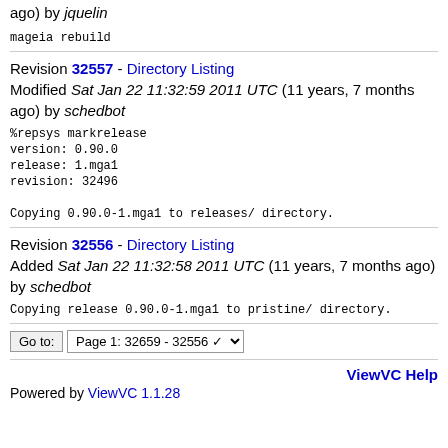ago) by jquelin
mageia rebuild
Revision 32557 - Directory Listing Modified Sat Jan 22 11:32:59 2011 UTC (11 years, 7 months ago) by schedbot
%repsys markrelease
version: 0.90.0
release: 1.mga1
revision: 32496

Copying 0.90.0-1.mga1 to releases/ directory.
Revision 32556 - Directory Listing Added Sat Jan 22 11:32:58 2011 UTC (11 years, 7 months ago) by schedbot
Copying release 0.90.0-1.mga1 to pristine/ directory.
Go to: Page 1: 32659 - 32556
ViewVC Help
Powered by ViewVC 1.1.28